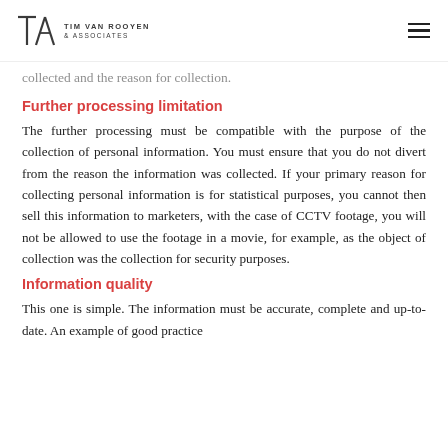Tim van Rooyen & Associates
collected and the reason for collection.
Further processing limitation
The further processing must be compatible with the purpose of the collection of personal information. You must ensure that you do not divert from the reason the information was collected. If your primary reason for collecting personal information is for statistical purposes, you cannot then sell this information to marketers, with the case of CCTV footage, you will not be allowed to use the footage in a movie, for example, as the object of collection was the collection for security purposes.
Information quality
This one is simple. The information must be accurate, complete and up-to-date. An example of good practice